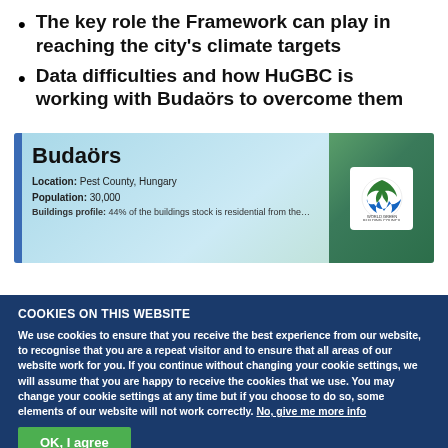The key role the Framework can play in reaching the city's climate targets
Data difficulties and how HuGBC is working with Budaörs to overcome them
[Figure (screenshot): Screenshot of a city profile card for Budaörs showing Location: Pest County, Hungary; Population: 30,000; Buildings profile (truncated). The card has a blue left bar, gradient blue-green background, and a World Green Building Council logo in the top right corner.]
COOKIES ON THIS WEBSITE
We use cookies to ensure that you receive the best experience from our website, to recognise that you are a repeat visitor and to ensure that all areas of our website work for you. If you continue without changing your cookie settings, we will assume that you are happy to receive the cookies that we use. You may change your cookie settings at any time but if you choose to do so, some elements of our website will not work correctly. No, give me more info
OK, I agree